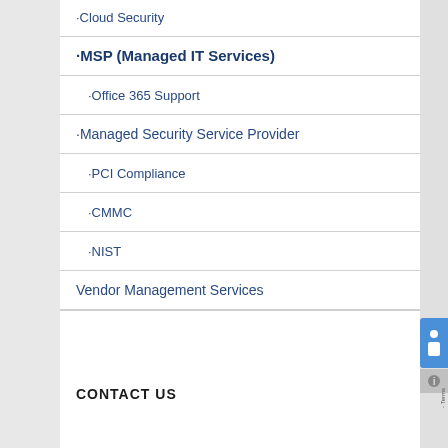·Cloud Security
·MSP (Managed IT Services)
·Office 365 Support
·Managed Security Service Provider
·PCI Compliance
·CMMC
·NIST
Vendor Management Services
CONTACT US